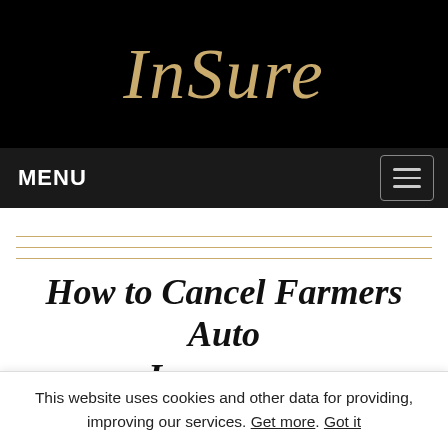InSure
MENU
How to Cancel Farmers Auto Insurance
Things to Remember
This website uses cookies and other data for providing, improving our services. Get more. Got it